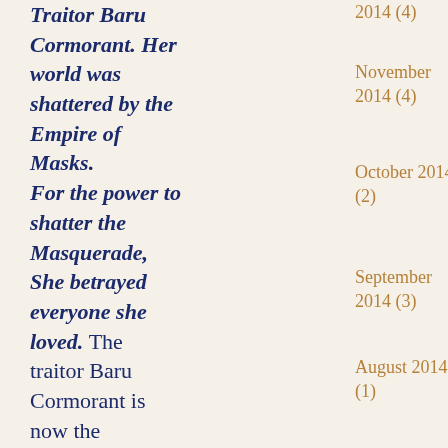Traitor Baru Cormorant. Her world was shattered by the Empire of Masks. For the power to shatter the Masquerade, She betrayed everyone she loved. The traitor Baru Cormorant is now the cryptarch Agonist — a
2014 (4)
November 2014 (4)
October 2014 (2)
September 2014 (3)
August 2014 (1)